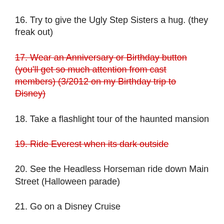16. Try to give the Ugly Step Sisters a hug. (they freak out)
17. Wear an Anniversary or Birthday button (you'll get so much attention from cast members) (3/2012 on my Birthday trip to Disney)
18. Take a flashlight tour of the haunted mansion
19. Ride Everest when its dark outside
20. See the Headless Horseman ride down Main Street (Halloween parade)
21. Go on a Disney Cruise